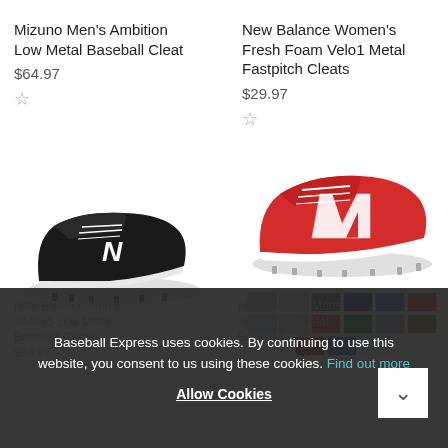Mizuno Men's Ambition Low Metal Baseball Cleat
$64.97
[Figure (photo): Black New Balance low metal baseball cleat on white background]
New Balance Women's Fresh Foam Velo1 Metal Fastpitch Cleats
$29.97
[Figure (photo): Red and white New Balance metal fastpitch cleats on white background, with color swatch thumbnails below]
Baseball Express uses cookies. By continuing to use this website, you consent to us using these cookies. Find out more
Allow Cookies
New Balance Men's 4040v5 Low Metal Baseball Cleats
$34.97
New Balance Mens 300v4 Low Metal Baseball Cleats